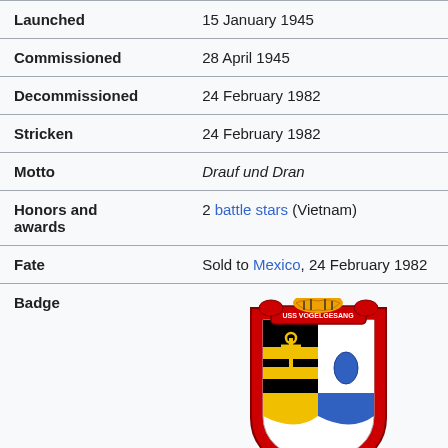| Field | Value |
| --- | --- |
| Launched | 15 January 1945 |
| Commissioned | 28 April 1945 |
| Decommissioned | 24 February 1982 |
| Stricken | 24 February 1982 |
| Motto | Drauf und Dran |
| Honors and awards | 2 battle stars (Vietnam) |
| Fate | Sold to Mexico, 24 February 1982 |
| Badge | [coat of arms image] |